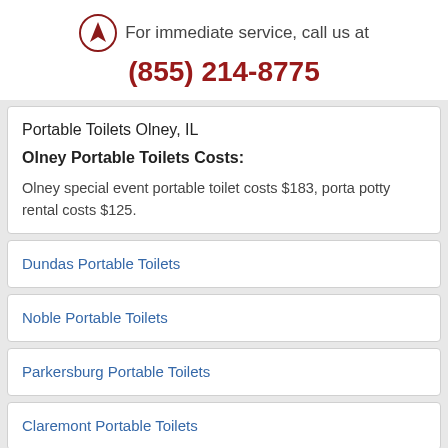For immediate service, call us at (855) 214-8775
Portable Toilets Olney, IL
Olney Portable Toilets Costs:
Olney special event portable toilet costs $183, porta potty rental costs $125.
Dundas Portable Toilets
Noble Portable Toilets
Parkersburg Portable Toilets
Claremont Portable Toilets